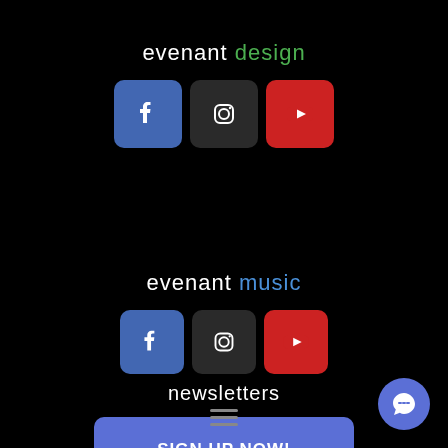evenant design
[Figure (illustration): Three social media icon buttons: Facebook (blue), Instagram (dark), YouTube (red) for evenant design]
evenant music
[Figure (illustration): Three social media icon buttons: Facebook (blue), Instagram (dark), YouTube (red) for evenant music]
newsletters
[Figure (illustration): Blue button with text SIGN UP NOW!]
[Figure (illustration): Hamburger menu icon (three horizontal lines) and a chat bubble button on the bottom right]